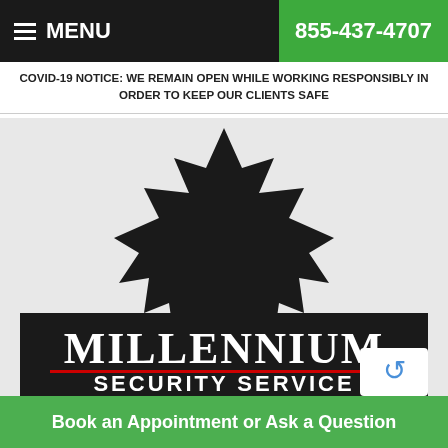≡ MENU   855-437-4707
COVID-19 NOTICE: WE REMAIN OPEN WHILE WORKING RESPONSIBLY IN ORDER TO KEEP OUR CLIENTS SAFE
[Figure (logo): Millennium Security Service logo featuring a large black maple leaf silhouette with the company name 'MILLENNIUM' in large white serif letters and 'SECURITY SERVICE' below in white sans-serif letters, separated by a red horizontal line. Logo is on a dark/black background within a light grey area.]
Book an Appointment or Ask a Question